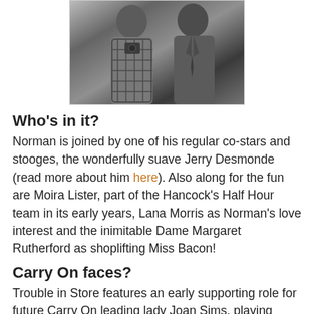[Figure (photo): Black and white photograph of two men, one in a plaid jacket holding a camera, the other in a suit.]
Who's in it?
Norman is joined by one of his regular co-stars and stooges, the wonderfully suave Jerry Desmonde (read more about him here). Also along for the fun are Moira Lister, part of the Hancock's Half Hour team in its early years, Lana Morris as Norman's love interest and the inimitable Dame Margaret Rutherford as shoplifting Miss Bacon!
Carry On faces?
Trouble in Store features an early supporting role for future Carry On leading lady Joan Sims, playing shop assistant Edna. Reliable, instantly recognisable character actor Michael Ward also crops up as Wilbur. There are also small